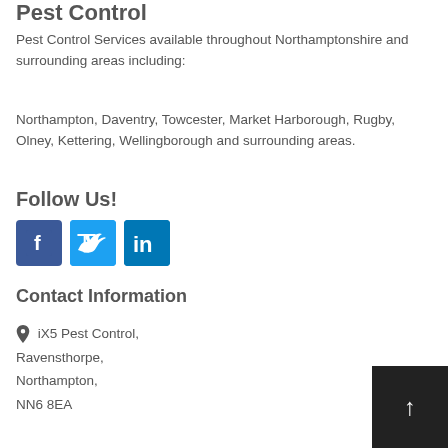Pest Control
Pest Control Services available throughout Northamptonshire and surrounding areas including:
Northampton, Daventry, Towcester, Market Harborough, Rugby, Olney, Kettering, Wellingborough and surrounding areas.
Follow Us!
[Figure (other): Social media icons: Facebook, Twitter, LinkedIn]
Contact Information
iX5 Pest Control, Ravensthorpe, Northampton, NN6 8EA